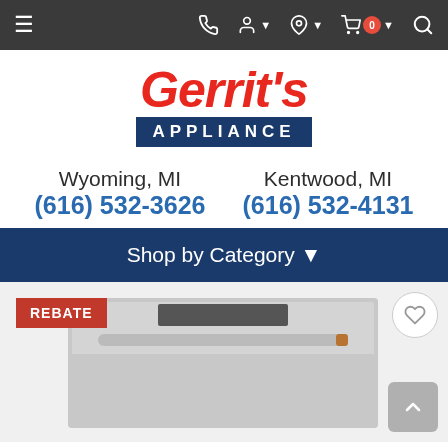Navigation bar with menu, phone, account, location, cart (0), search icons
[Figure (logo): Gerrit's Appliance logo — red italic text 'Gerrit's' above a dark blue banner reading 'APPLIANCE']
Wyoming, MI  (616) 532-3626    Kentwood, MI  (616) 532-4131
Shop by Category ▾
[Figure (photo): Stainless steel dishwasher product image with a REBATE badge, a wishlist heart button, and a back-to-top arrow button]